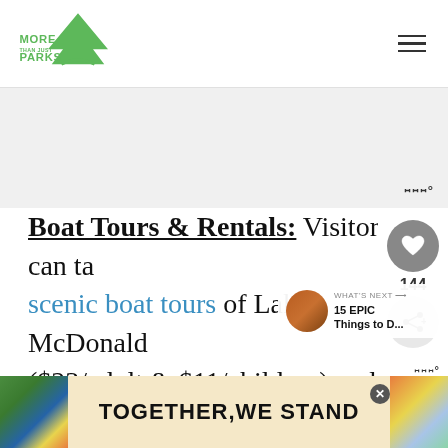More Than Just Parks
[Figure (logo): More Than Just Parks green logo with arrowhead/mountain shape]
Boat Tours & Rentals: Visitors can take scenic boat tours of Lake McDonald ($23/adult & $11/children) and rent paddleboards ($15/hour), kayaks ($22/hour), rowboats ($22/hour), and more
[Figure (infographic): Advertisement banner: TOGETHER WE STAND with colorful illustrated figures on left and right sides]